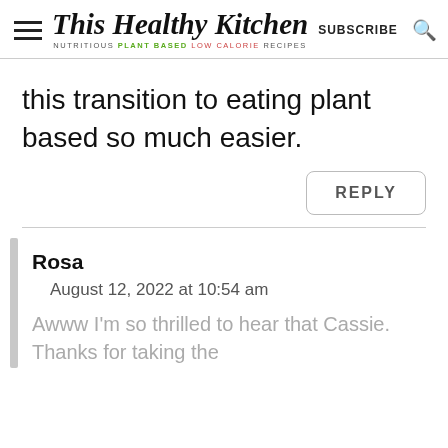This Healthy Kitchen — NUTRITIOUS PLANT BASED LOW CALORIE RECIPES — SUBSCRIBE
this transition to eating plant based so much easier.
REPLY
Rosa
August 12, 2022 at 10:54 am
Awww I'm so thrilled to hear that Cassie. Thanks for taking the